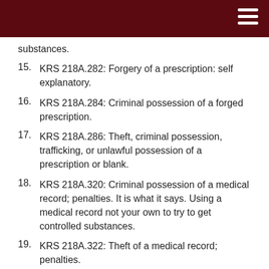substances.
15. KRS 218A.282: Forgery of a prescription: self explanatory.
16. KRS 218A.284: Criminal possession of a forged prescription.
17. KRS 218A.286: Theft, criminal possession, trafficking, or unlawful possession of a prescription or blank.
18. KRS 218A.320: Criminal possession of a medical record; penalties. It is what it says. Using a medical record not your own to try to get controlled substances.
19. KRS 218A.322: Theft of a medical record; penalties.